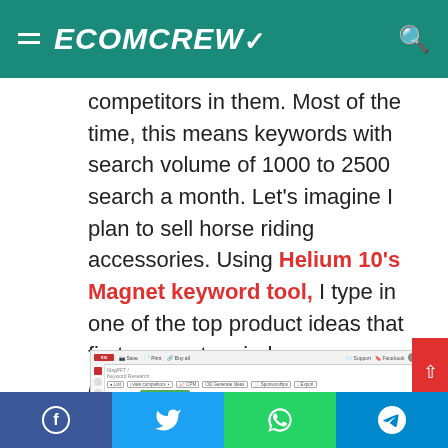ECOMCREW
competitors in them. Most of the time, this means keywords with search volume of 1000 to 2500 search a month. Let's imagine I plan to sell horse riding accessories. Using Helium 10's Magnet keyword tool, I type in one of the top product ideas that first comes to mind: horse saddles.
[Figure (screenshot): Screenshot of Helium 10 Magnet keyword tool showing search results for 'horse saddle' with columns for DISTRIBUTION, TOP PRODUCTS, and WORD FREQUENCY. Annotations in red highlight 'Total estimated search volume for this keyword' and 'Other related keywords'.]
Facebook | Twitter | WhatsApp | Telegram social share buttons